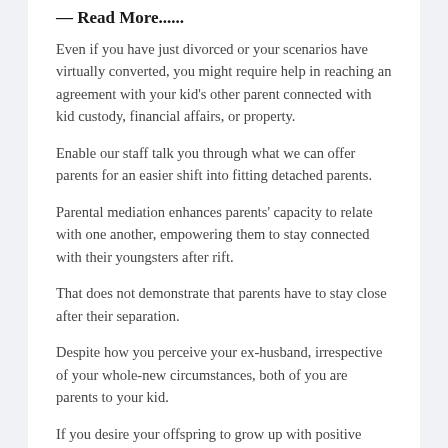— Read More......
Even if you have just divorced or your scenarios have virtually converted, you might require help in reaching an agreement with your kid's other parent connected with kid custody, financial affairs, or property.
Enable our staff talk you through what we can offer parents for an easier shift into fitting detached parents.
Parental mediation enhances parents' capacity to relate with one another, empowering them to stay connected with their youngsters after rift.
That does not demonstrate that parents have to stay close after their separation.
Despite how you perceive your ex-husband, irrespective of your whole-new circumstances, both of you are parents to your kid.
If you desire your offspring to grow up with positive